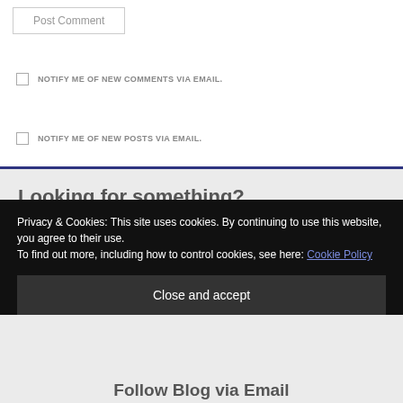Post Comment
NOTIFY ME OF NEW COMMENTS VIA EMAIL.
NOTIFY ME OF NEW POSTS VIA EMAIL.
Looking for something?
Privacy & Cookies: This site uses cookies. By continuing to use this website, you agree to their use.
To find out more, including how to control cookies, see here: Cookie Policy
Close and accept
Follow Blog via Email